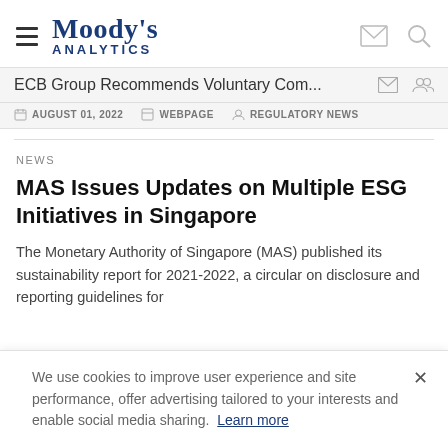[Figure (logo): Moody's Analytics logo with hamburger menu icon on the left and envelope/search icons on the right]
ECB Group Recommends Voluntary Com...
AUGUST 01, 2022   WEBPAGE   REGULATORY NEWS
NEWS
MAS Issues Updates on Multiple ESG Initiatives in Singapore
The Monetary Authority of Singapore (MAS) published its sustainability report for 2021-2022, a circular on disclosure and reporting guidelines for
We use cookies to improve user experience and site performance, offer advertising tailored to your interests and enable social media sharing. Learn more